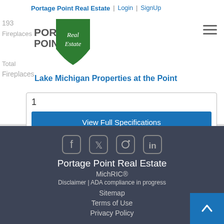Portage Point Real Estate | Login | SignUp
[Figure (logo): Portage Point Real Estate logo with green shield badge and script text 'Real Estate']
193
Fireplaces
Lake Michigan Properties at the Point
Fireplaces
1
View Full Specifications
Portage Point Real Estate
MichRIC®
Disclaimer | ADA compliance in progress
Skip to Content
Sitemap
Terms of Use
Privacy Policy